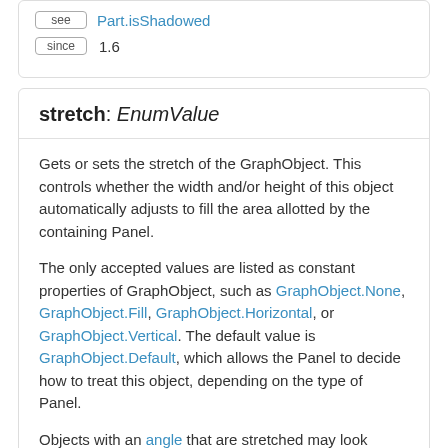see  Part.isShadowed
since  1.6
stretch: EnumValue
Gets or sets the stretch of the GraphObject. This controls whether the width and/or height of this object automatically adjusts to fill the area allotted by the containing Panel.
The only accepted values are listed as constant properties of GraphObject, such as GraphObject.None, GraphObject.Fill, GraphObject.Horizontal, or GraphObject.Vertical. The default value is GraphObject.Default, which allows the Panel to decide how to treat this object, depending on the type of Panel.
Objects with an angle that are stretched may look incorrect unless the angle is a multiple of 90.
Stretch will have have different effects based upon the Panel containing this object. Elements of:
Auto panels will not stretch, except the main element